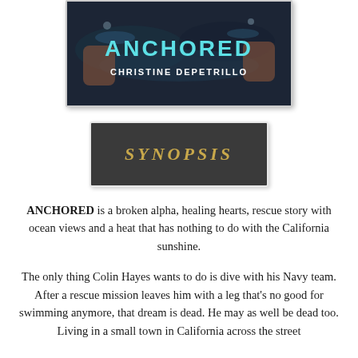[Figure (illustration): Book cover for 'Anchored' by Christine DePetrillo. Dark background with water and hands. Title 'ANCHORED' in large cyan/turquoise letters, author name 'CHRISTINE DEPETRILLO' in white below.]
[Figure (other): Dark gray banner with 'SYNOPSIS' text in golden/yellow italic letters on dark background, with white border.]
ANCHORED is a broken alpha, healing hearts, rescue story with ocean views and a heat that has nothing to do with the California sunshine.
The only thing Colin Hayes wants to do is dive with his Navy team. After a rescue mission leaves him with a leg that's no good for swimming anymore, that dream is dead. He may as well be dead too. Living in a small town in California across the street